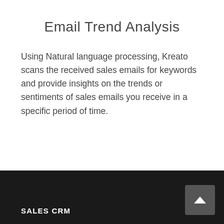Email Trend Analysis
Using Natural language processing, Kreato scans the received sales emails for keywords and provide insights on the trends or sentiments of sales emails you receive in a specific period of time.
SALES CRM